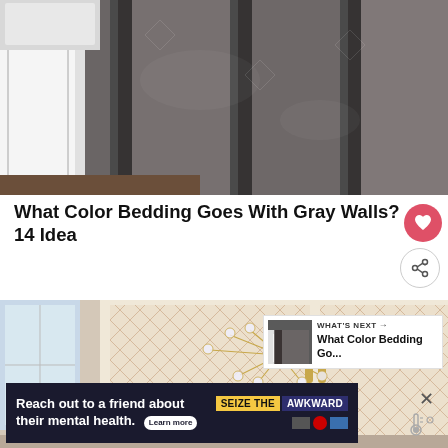[Figure (photo): Close-up of a bed with dark gray velvet quilted bedding and white/light gray sheets and pillow]
What Color Bedding Goes With Gray Walls? 14 Ideas
[Figure (photo): Bedroom interior with gold sputnik chandelier, patterned wardrobe doors, and plants; 'What's Next' thumbnail overlay for 'What Color Bedding Go...']
[Figure (infographic): Advertisement banner: 'Reach out to a friend about their mental health. Learn more' - SEIZE THE AWKWARD campaign with ad council logos]